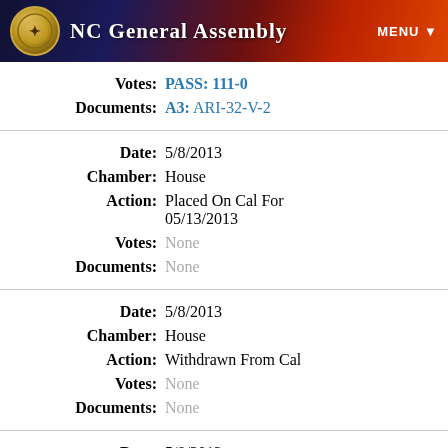NC General Assembly
| Field | Value |
| --- | --- |
| Votes: | PASS: 111-0 |
| Documents: | A3: ARI-32-V-2 |
| Field | Value |
| --- | --- |
| Date: | 5/8/2013 |
| Chamber: | House |
| Action: | Placed On Cal For 05/13/2013 |
| Votes: | None |
| Documents: | None |
| Field | Value |
| --- | --- |
| Date: | 5/8/2013 |
| Chamber: | House |
| Action: | Withdrawn From Cal |
| Votes: | None |
| Documents: | None |
| Field | Value |
| --- | --- |
| Date: | 5/8/2013 |
| Chamber: | House |
| Action: | Passed 2nd Reading |